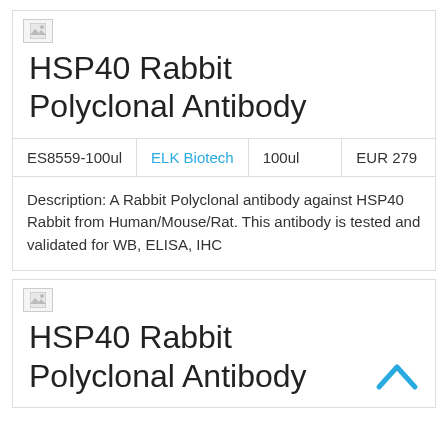[Figure (logo): Small broken image placeholder icon in top-left of first card]
HSP40 Rabbit Polyclonal Antibody
| ES8559-100ul | ELK Biotech | 100ul | EUR 279 |
| --- | --- | --- | --- |
Description: A Rabbit Polyclonal antibody against HSP40 Rabbit from Human/Mouse/Rat. This antibody is tested and validated for WB, ELISA, IHC
[Figure (logo): Small broken image placeholder icon in top-left of second card]
HSP40 Rabbit Polyclonal Antibody